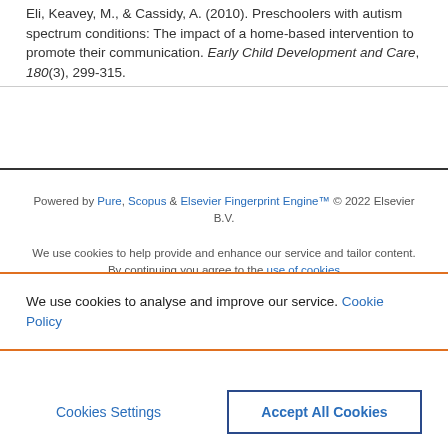Eli, Keavey, M., & Cassidy, A. (2010). Preschoolers with autism spectrum conditions: The impact of a home-based intervention to promote their communication. Early Child Development and Care, 180(3), 299-315.
Powered by Pure, Scopus & Elsevier Fingerprint Engine™ © 2022 Elsevier B.V.
We use cookies to help provide and enhance our service and tailor content. By continuing you agree to the use of cookies
We use cookies to analyse and improve our service. Cookie Policy
Cookies Settings
Accept All Cookies